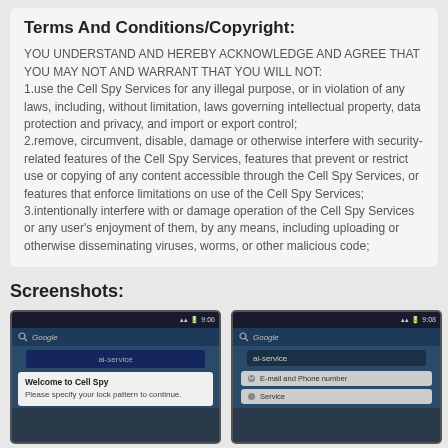Terms And Conditions/Copyright:
YOU UNDERSTAND AND HEREBY ACKNOWLEDGE AND AGREE THAT YOU MAY NOT AND WARRANT THAT YOU WILL NOT:
1.use the Cell Spy Services for any illegal purpose, or in violation of any laws, including, without limitation, laws governing intellectual property, data protection and privacy, and import or export control;
2.remove, circumvent, disable, damage or otherwise interfere with security-related features of the Cell Spy Services, features that prevent or restrict use or copying of any content accessible through the Cell Spy Services, or features that enforce limitations on use of the Cell Spy Services;
3.intentionally interfere with or damage operation of the Cell Spy Services or any user's enjoyment of them, by any means, including uploading or otherwise disseminating viruses, worms, or other malicious code;
Screenshots:
[Figure (screenshot): Android phone screenshot showing 'Welcome to Cell Spy' dialog with 'Please specify your lock pattern to continue.' message. Status bar shows 9:06.]
[Figure (screenshot): Android phone screenshot showing Cell Spy app with 'ai-service' label and buttons for 'E-mail and Phone number' and 'Service'. Status bar shows 9:08.]